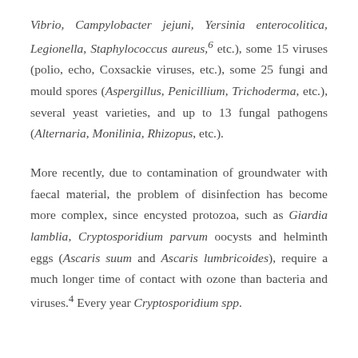Vibrio, Campylobacter jejuni, Yersinia enterocolitica, Legionella, Staphylococcus aureus,6 etc.), some 15 viruses (polio, echo, Coxsackie viruses, etc.), some 25 fungi and mould spores (Aspergillus, Penicillium, Trichoderma, etc.), several yeast varieties, and up to 13 fungal pathogens (Alternaria, Monilinia, Rhizopus, etc.).
More recently, due to contamination of groundwater with faecal material, the problem of disinfection has become more complex, since encysted protozoa, such as Giardia lamblia, Cryptosporidium parvum oocysts and helminth eggs (Ascaris suum and Ascaris lumbricoides), require a much longer time of contact with ozone than bacteria and viruses.4 Every year Cryptosporidium spp.